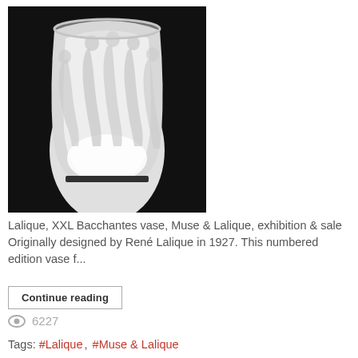[Figure (photo): A Lalique XXL Bacchantes crystal vase photographed against a black background. The frosted glass vase features multiple nude female figures in relief around its exterior. The vase sits on a dark pedestal base, lit from within or below creating a luminous white glow.]
Lalique, XXL Bacchantes vase, Muse & Lalique, exhibition & sale Originally designed by René Lalique in 1927. This numbered edition vase f...
Continue reading
6227
Tags:  #Lalique, #Muse & Lalique